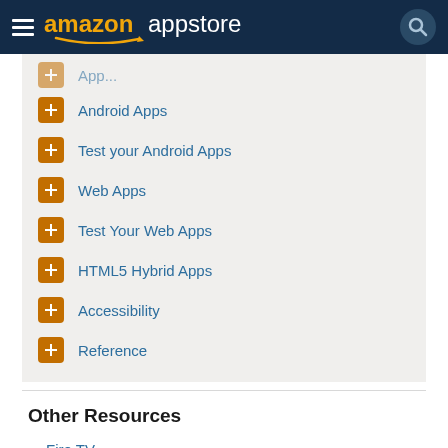amazon appstore
Android Apps
Test your Android Apps
Web Apps
Test Your Web Apps
HTML5 Hybrid Apps
Accessibility
Reference
Other Resources
Fire TV
HTML5 Web API
Appstore Submission
Policy Center
In-App Purchasing API
App Testing Service